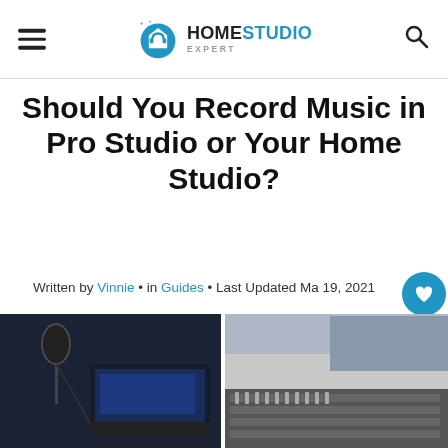Home Studio Expert — navigation header with logo, hamburger menu, and search icon
Should You Record Music in Pro Studio or Your Home Studio?
Written by Vinnie • in Guides • Last Updated May 19, 2021
[Figure (photo): Split image showing a home recording studio setup on the left (microphone and keyboard/DAW screen) and a professional studio mixing console on the right]